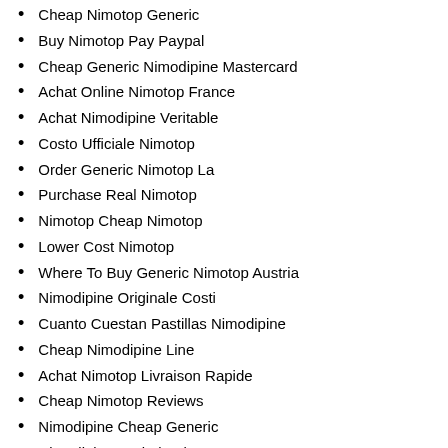Cheap Nimotop Generic
Buy Nimotop Pay Paypal
Cheap Generic Nimodipine Mastercard
Achat Online Nimotop France
Achat Nimodipine Veritable
Costo Ufficiale Nimotop
Order Generic Nimotop La
Purchase Real Nimotop
Nimotop Cheap Nimotop
Lower Cost Nimotop
Where To Buy Generic Nimotop Austria
Nimodipine Originale Costi
Cuanto Cuestan Pastillas Nimodipine
Cheap Nimodipine Line
Achat Nimotop Livraison Rapide
Cheap Nimotop Reviews
Nimodipine Cheap Generic
Nimodipine Nederland Kopen